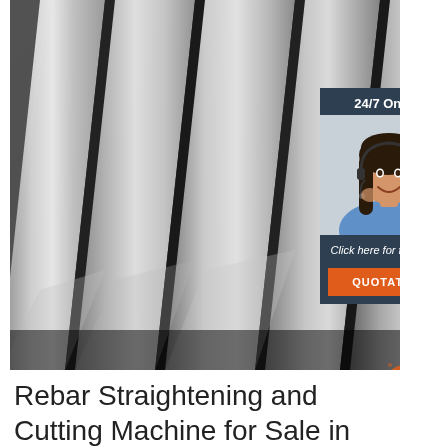[Figure (photo): Close-up photo of multiple steel flat bars arranged parallel to each other on a dark surface, showing metallic sheen and industrial texture. An overlay widget shows a customer service representative with headset labeled '24/7 Online' and a 'Click here for free chat!' prompt with a QUOTATION button.]
Rebar Straightening and Cutting Machine for Sale in